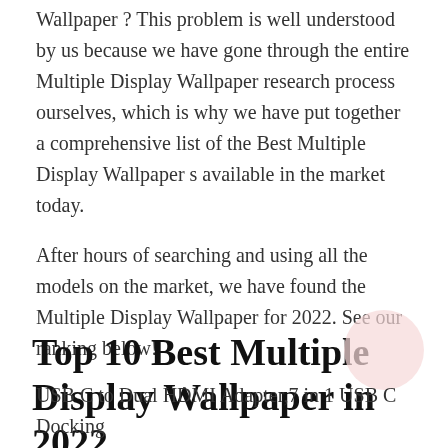Wallpaper ? This problem is well understood by us because we have gone through the entire Multiple Display Wallpaper research process ourselves, which is why we have put together a comprehensive list of the Best Multiple Display Wallpaper s available in the market today.
After hours of searching and using all the models on the market, we have found the Multiple Display Wallpaper for 2022. See our ranking below!
Top 10 Best Multiple Display Wallpaper in 2022
USB C to Dual HDMI Adapter,7 in 1 USB C Docking